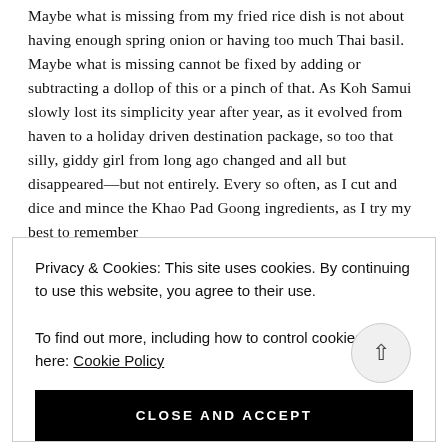Maybe what is missing from my fried rice dish is not about having enough spring onion or having too much Thai basil. Maybe what is missing cannot be fixed by adding or subtracting a dollop of this or a pinch of that. As Koh Samui slowly lost its simplicity year after year, as it evolved from haven to a holiday driven destination package, so too that silly, giddy girl from long ago changed and all but disappeared—but not entirely. Every so often, as I cut and dice and mince the Khao Pad Goong ingredients, as I try my best to remember
Privacy & Cookies: This site uses cookies. By continuing to use this website, you agree to their use.
To find out more, including how to control cookies, see here: Cookie Policy
CLOSE AND ACCEPT